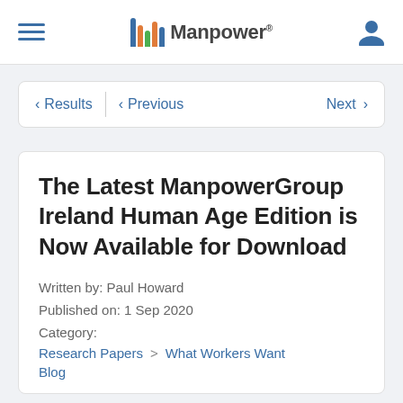Manpower
< Results  < Previous  Next >
The Latest ManpowerGroup Ireland Human Age Edition is Now Available for Download
Written by: Paul Howard
Published on: 1 Sep 2020
Category:
Research Papers > What Workers Want
Blog